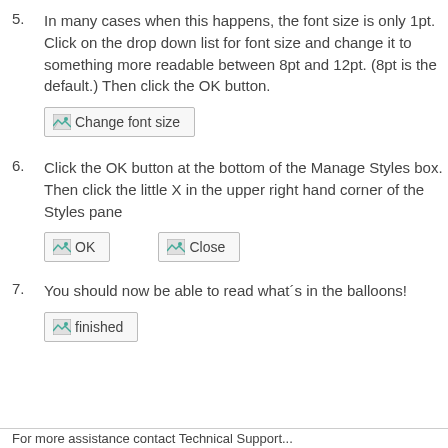5. In many cases when this happens, the font size is only 1pt. Click on the drop down list for font size and change it to something more readable between 8pt and 12pt. (8pt is the default.) Then click the OK button.
[Figure (screenshot): Button or image labeled 'Change font size']
6. Click the OK button at the bottom of the Manage Styles box. Then click the little X in the upper right hand corner of the Styles pane
[Figure (screenshot): Button or image labeled 'OK']
[Figure (screenshot): Button or image labeled 'Close']
7. You should now be able to read what´s in the balloons!
[Figure (screenshot): Button or image labeled 'finished']
For more assistance contact Technical Support...